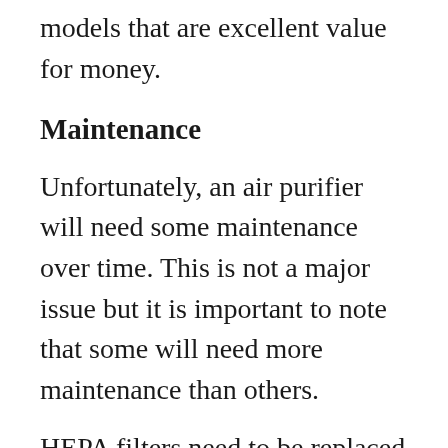models that are excellent value for money.
Maintenance
Unfortunately, an air purifier will need some maintenance over time. This is not a major issue but it is important to note that some will need more maintenance than others.
HEPA filters need to be replaced roughly once a year. This will depend on the air quality and how often they are used. Also, look at the cost of replacement filters so you understand the long-term cost of the